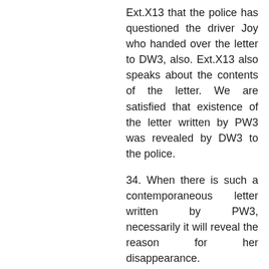Ext.X13 that the police has questioned the driver Joy who handed over the letter to DW3, also. Ext.X13 also speaks about the contents of the letter. We are satisfied that existence of the letter written by PW3 was revealed by DW3 to the police.
34. When there is such a contemporaneous letter written by PW3, necessarily it will reveal the reason for her disappearance.